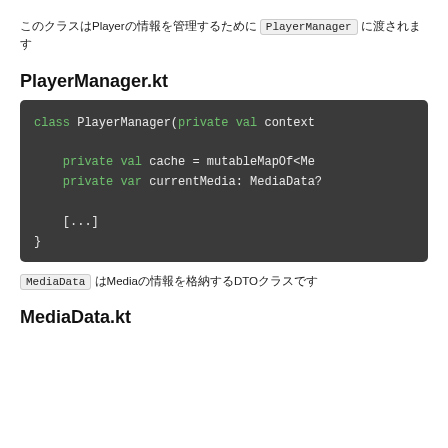このクラスはPlayerの情報を管理するために PlayerManager に渡されます
PlayerManager.kt
[Figure (screenshot): Kotlin code block showing class PlayerManager(private val context with private val cache = mutableMapOf<Me... private var currentMedia: MediaData? and [...]]
MediaData はMediaの情報を格納するDTOクラスです
MediaData.kt